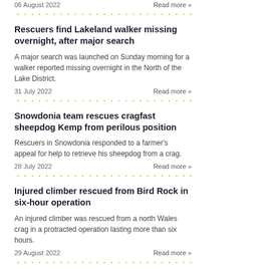06 August 2022
Read more »
· · · · · · · · · · · · · · · · · · · · · · · · · · · · · · · ·
Rescuers find Lakeland walker missing overnight, after major search
A major search was launched on Sunday morning for a walker reported missing overnight in the North of the Lake District.
31 July 2022
Read more »
· · · · · · · · · · · · · · · · · · · · · · · · · · · · · · · ·
Snowdonia team rescues cragfast sheepdog Kemp from perilous position
Rescuers in Snowdonia responded to a farmer's appeal for help to retrieve his sheepdog from a crag.
28 July 2022
Read more »
· · · · · · · · · · · · · · · · · · · · · · · · · · · · · · · ·
Injured climber rescued from Bird Rock in six-hour operation
An injured climber was rescued from a north Wales crag in a protracted operation lasting more than six hours.
29 August 2022
Read more »
· · · · · · · · · · · · · · · · · · · · · · · · · · · · · · · ·